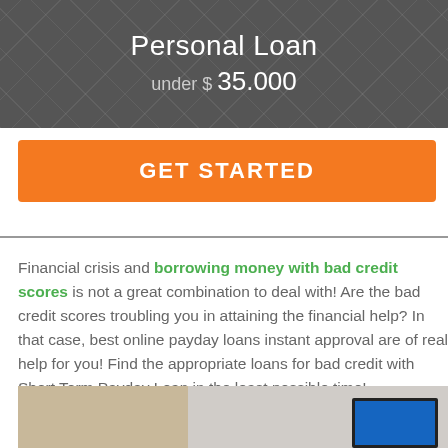Personal Loan under $ 35.000
GET STARTED
Financial crisis and borrowing money with bad credit scores is not a great combination to deal with! Are the bad credit scores troubling you in attaining the financial help? In that case, best online payday loans instant approval are of real help for you! Find the appropriate loans for bad credit with Short Term Payday Loan in the least possible time!
[Figure (photo): Partial photo of a room with a television or monitor with a blue screen, beige/tan wall and floor visible]